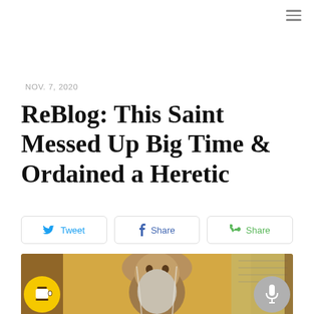≡
NOV. 7, 2020
ReBlog: This Saint Messed Up Big Time & Ordained a Heretic
Tweet | Share | Share
[Figure (photo): Byzantine icon of a bearded saint with long white-streaked hair and beard, depicted against a gold background with an inscription panel visible to the right. Two circular overlay buttons appear at the bottom corners: a yellow coffee cup button on the left and a gray microphone button on the right.]